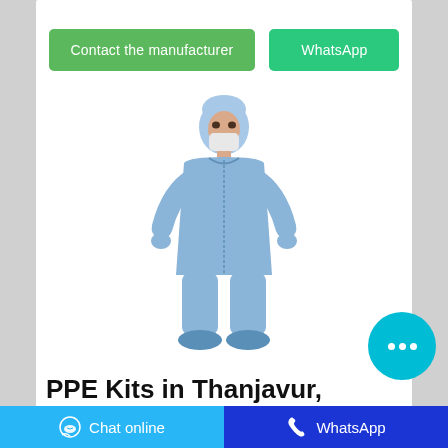[Figure (other): Two green/teal buttons: 'Contact the manufacturer' and 'WhatsApp']
[Figure (photo): Person wearing full blue PPE protective suit with hood, face mask, and blue shoe covers, standing with hands on hips against white background]
PPE Kits in Thanjavur, Tamil Nadu | PPE Kits, CoronaVirus ...
Find here PPE Kits, CoronaVirus PPE Kit manufacturers, suppliers and exporters in Thanjavur,
[Figure (other): Cyan circle chat bubble button with three white dots (ellipsis)]
Chat online  |  WhatsApp